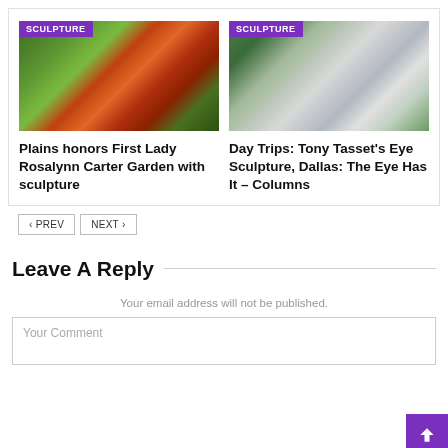[Figure (photo): Butterfly sculpture photo with purple SCULPTURE tag badge]
Plains honors First Lady Rosalynn Carter Garden with sculpture
[Figure (photo): Giant eyeball sculpture in Dallas with purple SCULPTURE tag badge]
Day Trips: Tony Tasset's Eye Sculpture, Dallas: The Eye Has It – Columns
< PREV   NEXT >
Leave A Reply
Your email address will not be published.
Your Comment